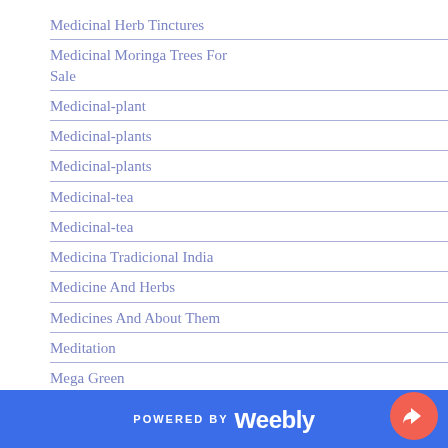Medicinal Herb Tinctures
Medicinal Moringa Trees For Sale
Medicinal-plant
Medicinal-plants
Medicinal-plants
Medicinal-tea
Medicinal-tea
Medicina Tradicional India
Medicine And Herbs
Medicines And About Them
Meditation
Mega Green
Mega Green Leaves
Mega-moringa-leaves
Melanoman
Memorial Day
POWERED BY weebly